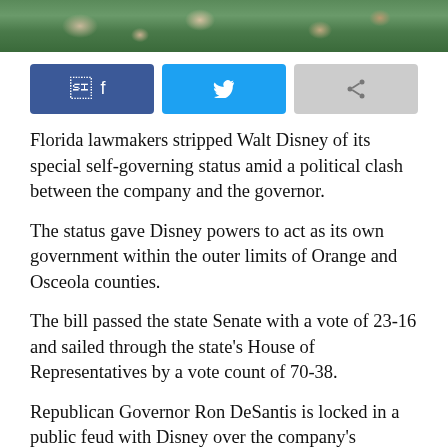[Figure (photo): Crowd of people at an outdoor Disney theme park location with greenery in the background.]
[Figure (infographic): Social media share buttons: Facebook (blue), Twitter (light blue), and a generic share button (grey).]
Florida lawmakers stripped Walt Disney of its special self-governing status amid a political clash between the company and the governor.
The status gave Disney powers to act as its own government within the outer limits of Orange and Osceola counties.
The bill passed the state Senate with a vote of 23-16 and sailed through the state's House of Representatives by a vote count of 70-38.
Republican Governor Ron DeSantis is locked in a public feud with Disney over the company's denouncement of Florida's HB 1557 law last month